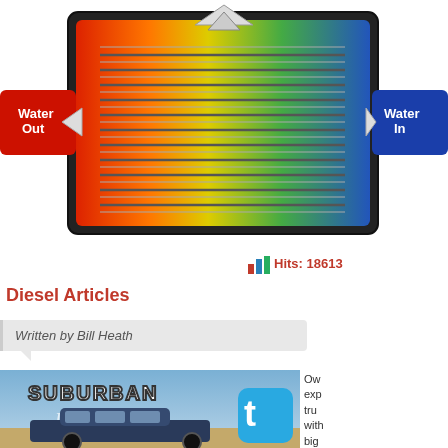[Figure (schematic): Heat exchanger schematic diagram showing water-cooled system with color gradient from blue (cool, Water In) on right to red/orange/yellow (hot, Water Out) on left, with horizontal fins and flow arrows.]
Hits: 18613
Diesel Articles
Written by Bill Heath
[Figure (photo): Photo of a Suburban SUV in a desert landscape with 'SUBURBAN Renewal' text overlay]
Ow... exp... tru... with big the pow...